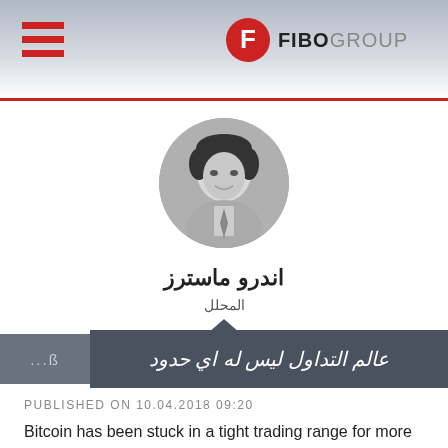FIBO GROUP
[Figure (photo): Black and white circular portrait photo of a man in a suit, smiling slightly]
اندرو ماسترز
المحلل
عالم التداول ليس له اي حدود
PUBLISHED ON 10.04.2018 09:20
Bitcoin has been stuck in a tight trading range for more than 2 weeks, unable to make any progress on the back of negative publicity and the threat by some governments to heavily regulate